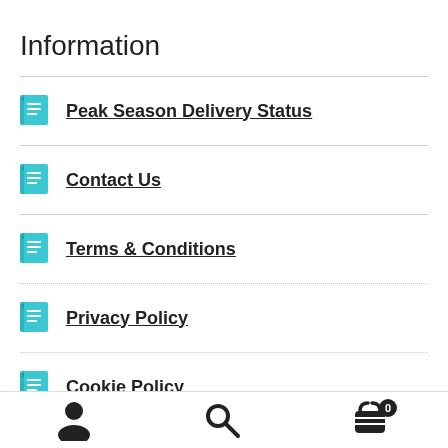Information
Peak Season Delivery Status
Contact Us
Terms & Conditions
Privacy Policy
Cookie Policy